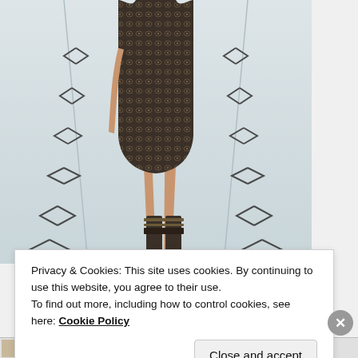[Figure (photo): Fashion runway photo showing a model from torso down, wearing a dark lace/patterned short dress and strappy heeled boots, walking on a light gray runway with decorative arrow/chevron patterns on the floor.]
Privacy & Cookies: This site uses cookies. By continuing to use this website, you agree to their use.
To find out more, including how to control cookies, see here: Cookie Policy
Close and accept